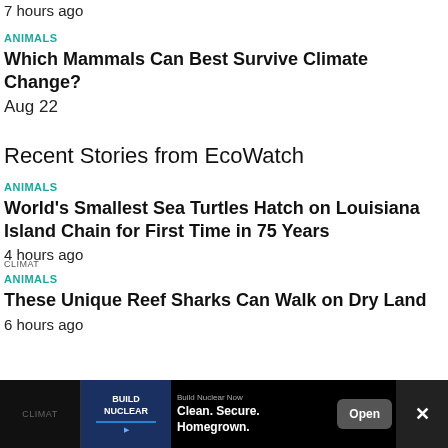7 hours ago
ANIMALS
Which Mammals Can Best Survive Climate Change?
Aug 22
Recent Stories from EcoWatch
ANIMALS
World's Smallest Sea Turtles Hatch on Louisiana Island Chain for First Time in 75 Years
4 hours ago
ANIMALS
These Unique Reef Sharks Can Walk on Dry Land
6 hours ago
[Figure (screenshot): Advertisement banner at bottom: 'Build Nuclear Now - Clean. Secure. Homegrown.' with Open button and close X button]